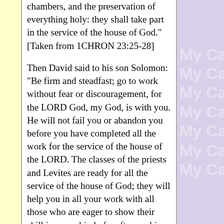chambers, and the preservation of everything holy: they shall take part in the service of the house of God." [Taken from 1CHRON 23:25-28]
Then David said to his son Solomon: "Be firm and steadfast; go to work without fear or discouragement, for the LORD God, my God, is with you. He will not fail you or abandon you before you have completed all the work for the service of the house of the LORD. The classes of the priests and Levites are ready for all the service of the house of God; they will help you in all your work with all those who are eager to show their skill in every kind of craftsmanship. Also the leaders and all the people will